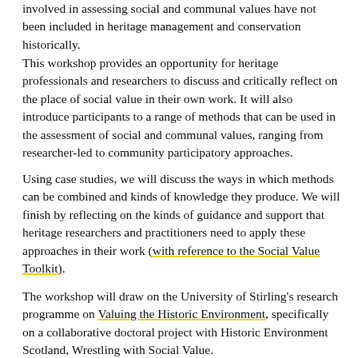involved in assessing social and communal values have not been included in heritage management and conservation historically.
This workshop provides an opportunity for heritage professionals and researchers to discuss and critically reflect on the place of social value in their own work. It will also introduce participants to a range of methods that can be used in the assessment of social and communal values, ranging from researcher-led to community participatory approaches.
Using case studies, we will discuss the ways in which methods can be combined and kinds of knowledge they produce. We will finish by reflecting on the kinds of guidance and support that heritage researchers and practitioners need to apply these approaches in their work (with reference to the Social Value Toolkit).
The workshop will draw on the University of Stirling's research programme on Valuing the Historic Environment, specifically on a collaborative doctoral project with Historic Environment Scotland, Wrestling with Social Value.